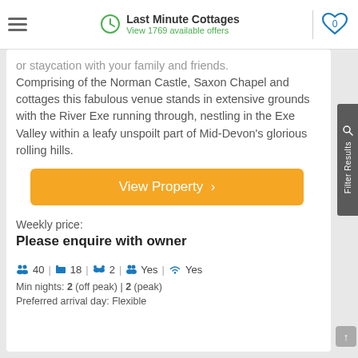Last Minute Cottages — View 1769 available offers
or staycation with your family and friends. Comprising of the Norman Castle, Saxon Chapel and cottages this fabulous venue stands in extensive grounds with the River Exe running through, nestling in the Exe Valley within a leafy unspoilt part of Mid-Devon's glorious rolling hills.
View Property >
Weekly price:
Please enquire with owner
40 | 18 | 2 | Yes | Yes
Min nights: 2 (off peak) | 2 (peak)
Preferred arrival day: Flexible